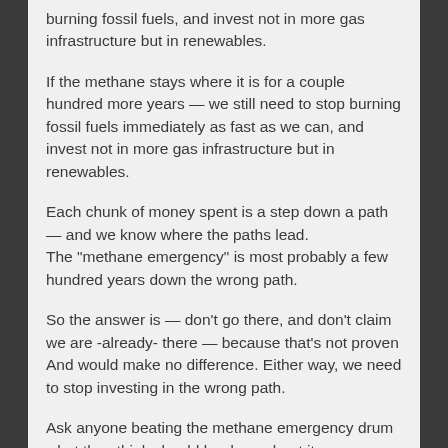burning fossil fuels, and invest not in more gas infrastructure but in renewables.
If the methane stays where it is for a couple hundred more years — we still need to stop burning fossil fuels immediately as fast as we can, and invest not in more gas infrastructure but in renewables.
Each chunk of money spent is a step down a path — and we know where the paths lead.
The "methane emergency" is most probably a few hundred years down the wrong path.
So the answer is — don't go there, and don't claim we are -already- there — because that's not proven And would make no difference. Either way, we need to stop investing in the wrong path.
Ask anyone beating the methane emergency drum what they think should be done about it.